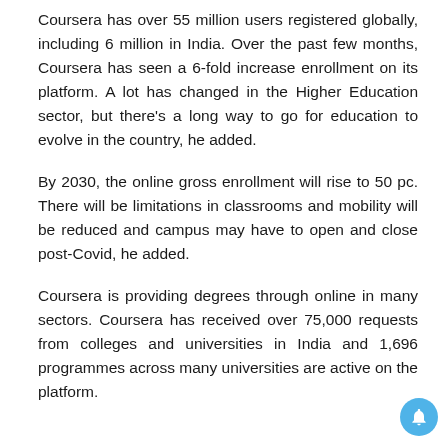Coursera has over 55 million users registered globally, including 6 million in India. Over the past few months, Coursera has seen a 6-fold increase enrollment on its platform. A lot has changed in the Higher Education sector, but there's a long way to go for education to evolve in the country, he added.
By 2030, the online gross enrollment will rise to 50 pc. There will be limitations in classrooms and mobility will be reduced and campus may have to open and close post-Covid, he added.
Coursera is providing degrees through online in many sectors. Coursera has received over 75,000 requests from colleges and universities in India and 1,696 programmes across many universities are active on the platform.